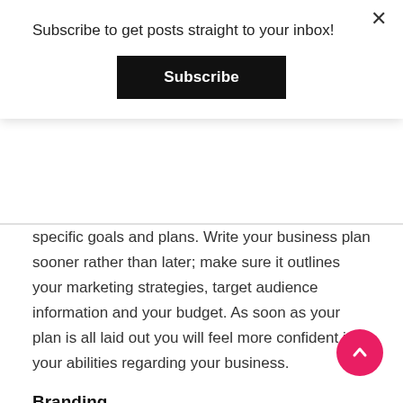Subscribe to get posts straight to your inbox!
Subscribe
specific goals and plans. Write your business plan sooner rather than later; make sure it outlines your marketing strategies, target audience information and your budget. As soon as your plan is all laid out you will feel more confident in your abilities regarding your business.
Branding
Your business brand tells your target audience what you’re all about. From the tone of voice in your advertising campaigns to the colour scheme of your website, your branding needs to be on point. There are a tonne of professionals out there who